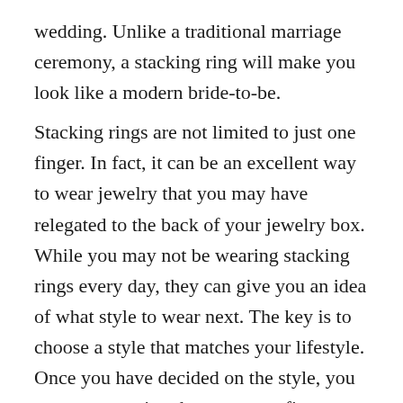wedding. Unlike a traditional marriage ceremony, a stacking ring will make you look like a modern bride-to-be.
Stacking rings are not limited to just one finger. In fact, it can be an excellent way to wear jewelry that you may have relegated to the back of your jewelry box. While you may not be wearing stacking rings every day, they can give you an idea of what style to wear next. The key is to choose a style that matches your lifestyle. Once you have decided on the style, you can start wearing them on your fingers.
While the style of stacking rings may be trendy, it should be done with care. The ring should not feel too tight or be too loose on your finger. You can even mix and match colours and stones. While wearing a